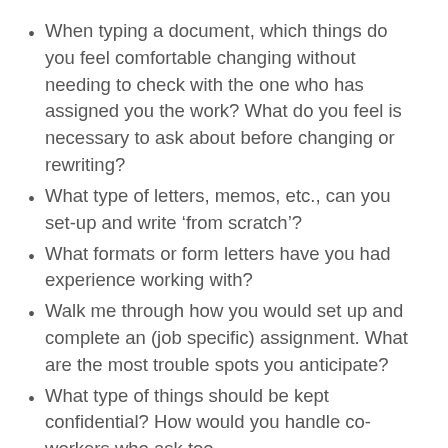When typing a document, which things do you feel comfortable changing without needing to check with the one who has assigned you the work? What do you feel is necessary to ask about before changing or rewriting?
What type of letters, memos, etc., can you set-up and write ‘from scratch’?
What formats or form letters have you had experience working with?
Walk me through how you would set up and complete an (job specific) assignment. What are the most trouble spots you anticipate?
What type of things should be kept confidential? How would you handle co-workers who ask too